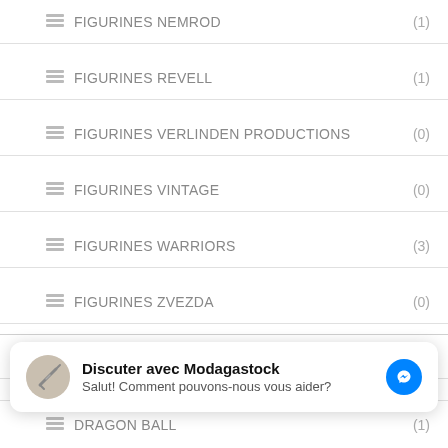FIGURINES NEMROD (1)
FIGURINES REVELL (1)
FIGURINES VERLINDEN PRODUCTIONS (0)
FIGURINES VINTAGE (0)
FIGURINES WARRIORS (3)
FIGURINES ZVEZDA (0)
MANGA FIGURINES (25)
CHEVALIERS DU ZODIAC/SAINT SEYA (4)
DATE A LIVE (0)
Discuter avec Modagastock
Salut! Comment pouvons-nous vous aider?
DRAGON BALL (1)